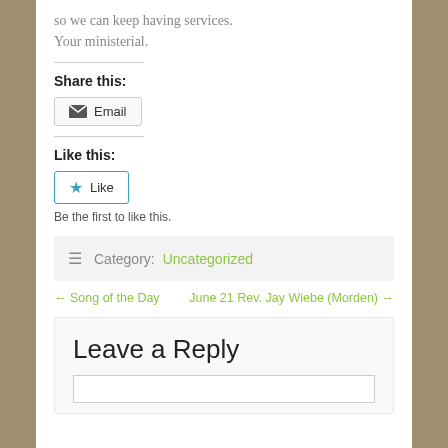so we can keep having services.
Your ministerial.
Share this:
[Figure (screenshot): Email share button with envelope icon]
Like this:
[Figure (screenshot): Like button with blue star icon]
Be the first to like this.
Category: Uncategorized
← Song of the Day   June 21 Rev. Jay Wiebe (Morden) →
Leave a Reply